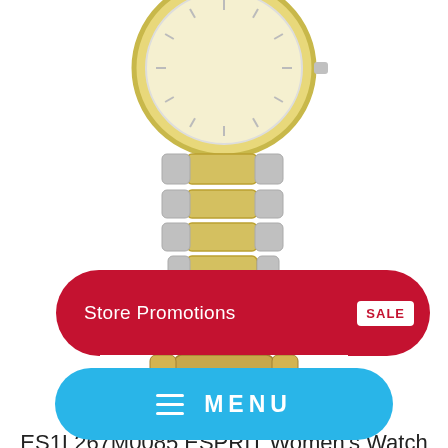[Figure (photo): ES1L267M0085 ESPRIT Women's Watch — a two-tone silver and gold bracelet watch with round champagne dial, photographed on white background, cropped to show lower portion of watch face and bracelet links.]
ES1L267M0085 ESPRIT Women's Watch
LE 3,800.00
or b...
[Figure (screenshot): Red rounded rectangle Store Promotions banner with white 'Store Promotions' text on left and 'SALE' badge in red text on white background on right.]
[Figure (photo): Partial image of a gold-tone women's watch bracelet, lower portion visible behind the store promotions banner.]
[Figure (screenshot): Blue rounded rectangle MENU button with hamburger icon (three horizontal lines) and 'MENU' text in white.]